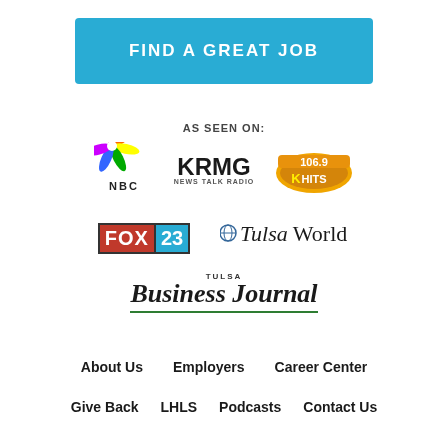FIND A GREAT JOB
AS SEEN ON:
[Figure (logo): NBC peacock logo]
[Figure (logo): KRMG News Talk Radio logo]
[Figure (logo): 106.9 K-HITS radio logo]
[Figure (logo): FOX 23 television logo]
[Figure (logo): Tulsa World newspaper logo]
[Figure (logo): Tulsa Business Journal logo]
About Us
Employers
Career Center
Give Back
LHLS
Podcasts
Contact Us